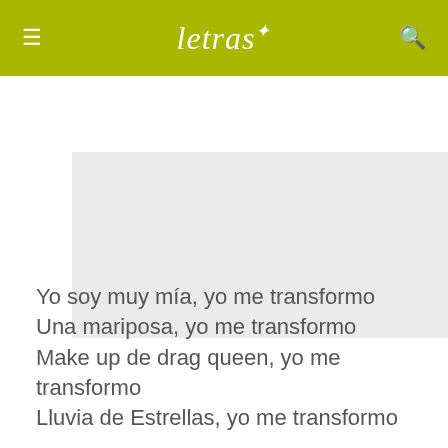letras
[Figure (other): Gray advertisement placeholder box]
Yo soy muy mía, yo me transformo
Una mariposa, yo me transformo
Make up de drag queen, yo me transformo
Lluvia de Estrellas, yo me transformo

Pasá' de vueltas, yo me transformo
Como sex siren, yo me transformo
Me contradigo, yo me transformo
Soy todas las cosas, yo me transformo